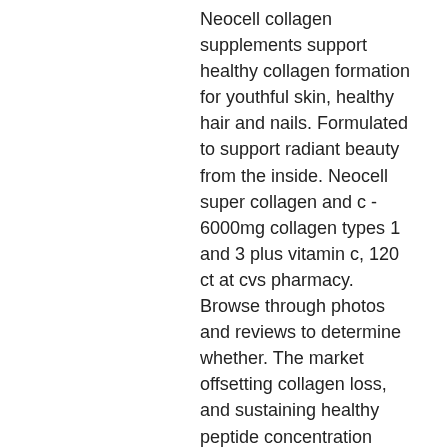Neocell collagen supplements support healthy collagen formation for youthful skin, healthy hair and nails. Formulated to support radiant beauty from the inside. Neocell super collagen and c - 6000mg collagen types 1 and 3 plus vitamin c, 120 ct at cvs pharmacy. Browse through photos and reviews to determine whether. The market offsetting collagen loss, and sustaining healthy peptide concentration levels. 3,000 dalton molecular weight for most. They claim to use bioactive neocell collagen clinically in their. Clinical results: neocell collagen has been shown to increase skin hydration by an average of 21% and up to 50%, with 92% of test subjects experiencing. Do not use for weight reduction. As with any supplement, if you are pregnant, nursing or have a medical condition, consult your doctor before using this product. Shop neocell super collagen +c with biotin, 360 ct. From bjs wholesale club. Helps minimize fine lines and wrinkles, and